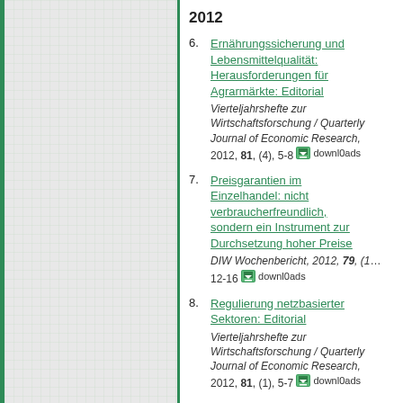[Figure (other): Left panel with grid/checkered background pattern and green border]
2012
6. Ernährungssicherung und Lebensmittelqualität: Herausforderungen für Agrarmärkte: Editorial — Vierteljahrshefte zur Wirtschaftsforschung / Quarterly Journal of Economic Research, 2012, 81, (4), 5-8 downloads
7. Preisgarantien im Einzelhandel: nicht verbraucherfreundlich, sondern ein Instrument zur Durchsetzung hoher Preise — DIW Wochenbericht, 2012, 79, (16), 12-16 downloads
8. Regulierung netzbasierter Sektoren: Editorial — Vierteljahrshefte zur Wirtschaftsforschung / Quarterly Journal of Economic Research, 2012, 81, (1), 5-7 downloads
2011
9. Privatisierungen in ...